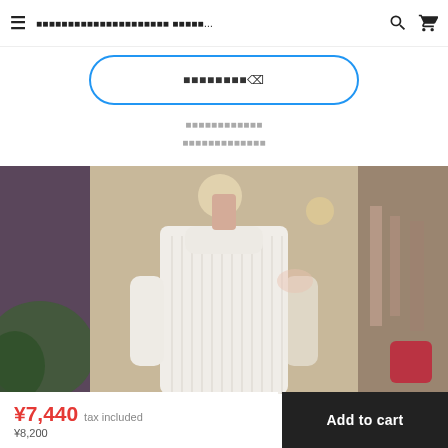≡  ■■■■■■■■■■■■■■■■■■■■■ ■■■■■...  🔍  🛒
■■■■■■■■♪
■■■■■■■■■■■■
■■■■■■■■■■■■■
[Figure (photo): A mannequin wearing a white ribbed turtleneck sweater in a clothing store, with blurred store background showing racks of clothing and decorative items.]
¥7,440 tax included
¥8,200
Add to cart